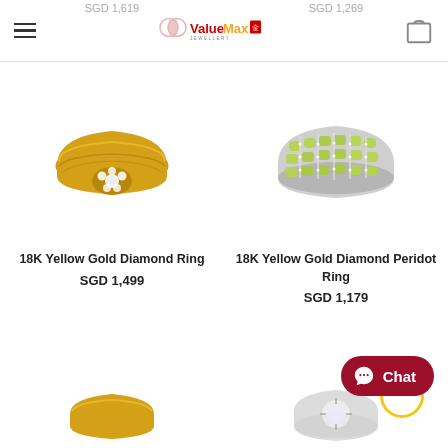ValueMax Jewellery
SGD 1,619   SGD 1,269
[Figure (photo): 18K Yellow Gold Diamond Ring - gold band with diamond flower cluster setting]
18K Yellow Gold Diamond Ring
SGD 1,499
[Figure (photo): 18K Yellow Gold Diamond Peridot Ring - wide band with green peridot stones and diamond rows]
18K Yellow Gold Diamond Peridot Ring
SGD 1,179
[Figure (photo): Partially visible gold ring at bottom left]
[Figure (photo): Partially visible diamond ring at bottom right]